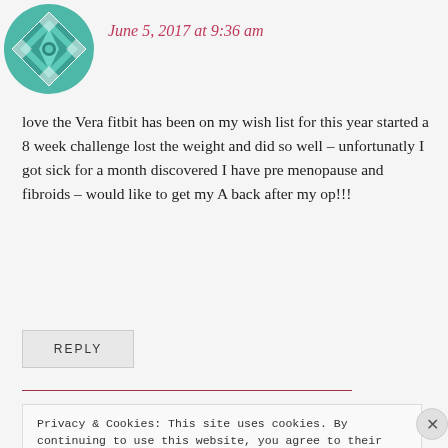[Figure (logo): Teal geometric quilt-pattern avatar icon]
June 5, 2017 at 9:36 am
love the Vera fitbit has been on my wish list for this year started a 8 week challenge lost the weight and did so well – unfortunatly I got sick for a month discovered I have pre menopause and fibroids – would like to get my A back after my op!!!
REPLY
Privacy & Cookies: This site uses cookies. By continuing to use this website, you agree to their use.
To find out more, including how to control cookies, see here: Cookie Policy
Close and accept